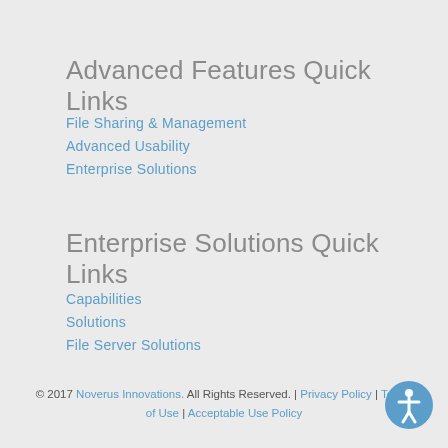Advanced Features Quick Links
File Sharing & Management
Advanced Usability
Enterprise Solutions
Enterprise Solutions Quick Links
Capabilities
Solutions
File Server Solutions
© 2017 Noverus Innovations. All Rights Reserved. | Privacy Policy | Terms of Use | Acceptable Use Policy